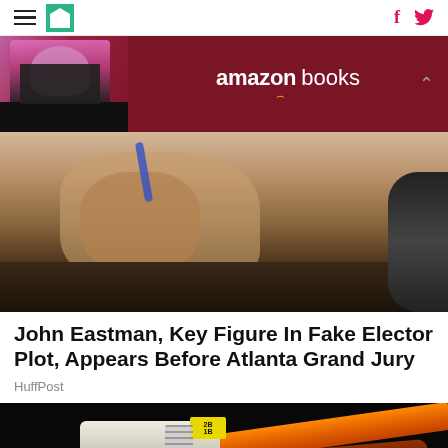HuffPost navigation with hamburger menu, logo, Facebook and Twitter icons
[Figure (photo): Amazon Books advertisement banner with a person holding a dark book cover on the left and Amazon Books logo text in white on dark red background]
[Figure (photo): Man covering his face with his hand while holding a blue pen, appearing at a hearing or committee setting]
John Eastman, Key Figure In Fake Elector Plot, Appears Before Atlanta Grand Jury
HuffPost
[Figure (photo): Close-up of an orange fiber optic cable connector (LC connector) with yellow label markers showing '2B' and '1B' against a black reflective background]